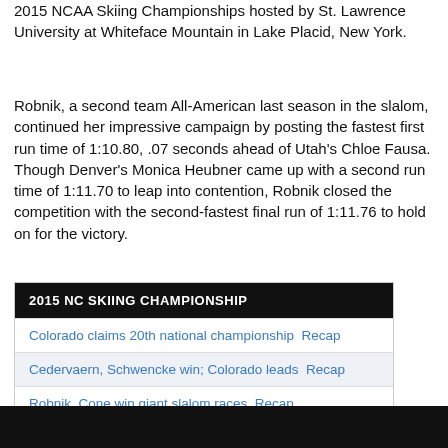2015 NCAA Skiing Championships hosted by St. Lawrence University at Whiteface Mountain in Lake Placid, New York.
Robnik, a second team All-American last season in the slalom, continued her impressive campaign by posting the fastest first run time of 1:10.80, .07 seconds ahead of Utah's Chloe Fausa. Though Denver's Monica Heubner came up with a second run time of 1:11.70 to leap into contention, Robnik closed the competition with the second-fastest final run of 1:11.76 to hold on for the victory.
| 2015 NC SKIING CHAMPIONSHIP |
| --- |
| Colorado claims 20th national championship Recap |
| Cedervaern, Schwencke win; Colorado leads Recap |
| Robnik, Cone win giant slalom races Recap |